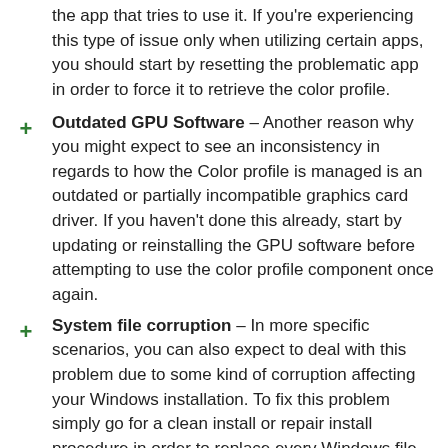the app that tries to use it. If you're experiencing this type of issue only when utilizing certain apps, you should start by resetting the problematic app in order to force it to retrieve the color profile.
Outdated GPU Software – Another reason why you might expect to see an inconsistency in regards to how the Color profile is managed is an outdated or partially incompatible graphics card driver. If you haven't done this already, start by updating or reinstalling the GPU software before attempting to use the color profile component once again.
System file corruption – In more specific scenarios, you can also expect to deal with this problem due to some kind of corruption affecting your Windows installation. To fix this problem simply go for a clean install or repair install procedure in order to replace every Windows file with a fresh equivalent.
Usage of Color Management Scheme is not